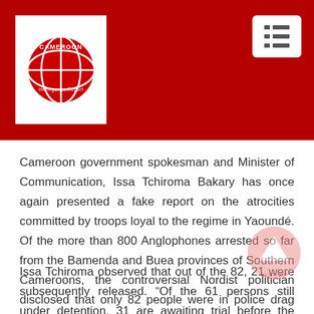[Figure (logo): Cameroon Intelligence Report logo - globe graphic with red and white text on white background, set against dark red header]
Cameroon government spokesman and Minister of Communication, Issa Tchiroma Bakary has once again presented a fake report on the atrocities committed by troops loyal to the regime in Yaoundé. Of the more than 800 Anglophones arrested so far from the Bamenda and Buea provinces of Southern Cameroons, the controversial Nordist politician disclosed that only 82 people were in police drag net in the wake of the ongoing crisis in the North West and South West regions.
Issa Tchiroma observed that out of the 82, 21 were subsequently released. “Of the 61 persons still under detention, 31 are awaiting trial before the competent court,